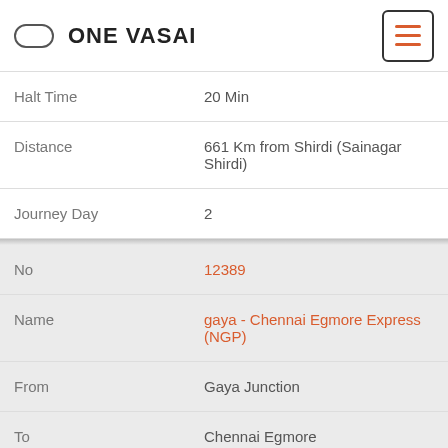ONE VASAI
| Field | Value |
| --- | --- |
| Halt Time | 20 Min |
| Distance | 661 Km from Shirdi (Sainagar Shirdi) |
| Journey Day | 2 |
| No | 12389 |
| Name | gaya - Chennai Egmore Express (NGP) |
| From | Gaya Junction |
| To | Chennai Egmore |
| Arrival | 01:40:00 |
| Departure | 01:50:00 |
| DaysOfWeek | Su |